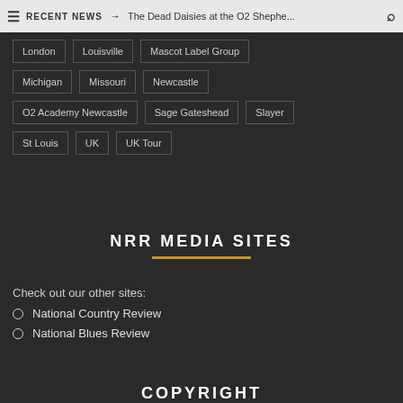RECENT NEWS → The Dead Daisies at the O2 Shephe...
London
Louisville
Mascot Label Group
Michigan
Missouri
Newcastle
O2 Academy Newcastle
Sage Gateshead
Slayer
St Louis
UK
UK Tour
NRR MEDIA SITES
Check out our other sites:
National Country Review
National Blues Review
COPYRIGHT